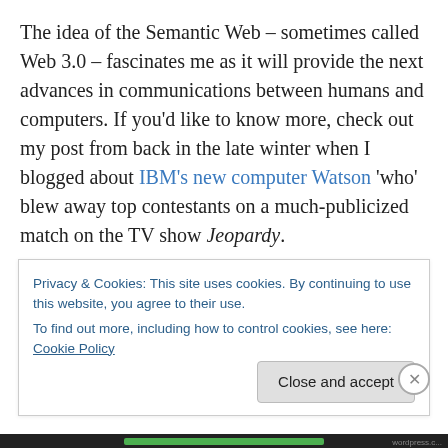The idea of the Semantic Web – sometimes called Web 3.0 – fascinates me as it will provide the next advances in communications between humans and computers. If you'd like to know more, check out my post from back in the late winter when I blogged about IBM's new computer Watson 'who' blew away top contestants on a much-publicized match on the TV show Jeopardy.
Watson and Siri promise to be part of a new DNA line of computer technology. What do you imagine or hope we'll be able to do in computing or online when their offspring
Privacy & Cookies: This site uses cookies. By continuing to use this website, you agree to their use.
To find out more, including how to control cookies, see here: Cookie Policy
Close and accept